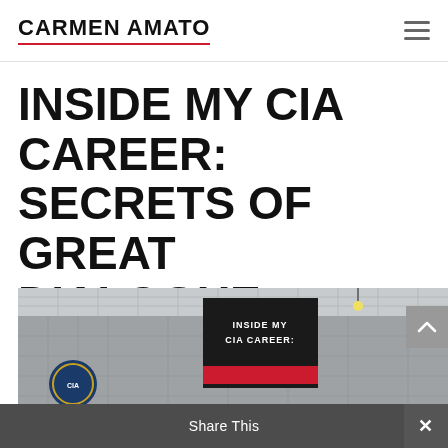CARMEN AMATO
INSIDE MY CIA CAREER: SECRETS OF GREAT DIALOGUE
MAR 22, 2021 | #TRUESTORY
[Figure (photo): Photo of a building interior with a CIA banner/sign visible, hanging from ceiling with tiled walls in background]